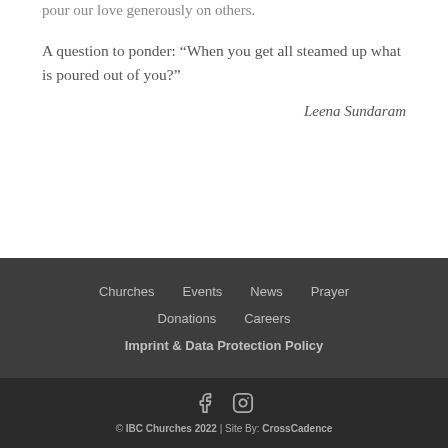pour our love generously on others.
A question to ponder: “When you get all steamed up what is poured out of you?”
Leena Sundaram
Churches   Events   News   Prayer   Donations   Careers   Imprint & Data Protection Policy
© IBC Churches 2022 | Site By: CrossCadence